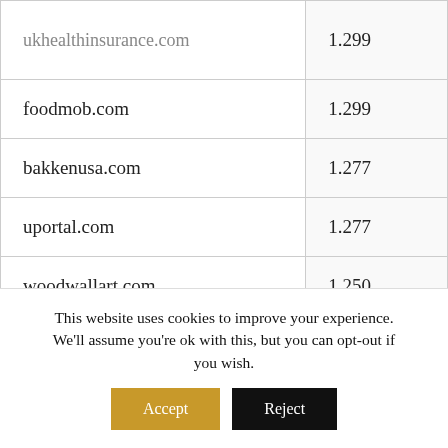| Domain | Value |
| --- | --- |
| ukhealthinsurance.com | 1.299 |
| foodmob.com | 1.299 |
| bakkenusa.com | 1.277 |
| uportal.com | 1.277 |
| woodwallart.com | 1.250 |
| marchands.com | 1.222 |
| suremobile.com |  |
This website uses cookies to improve your experience. We'll assume you're ok with this, but you can opt-out if you wish.